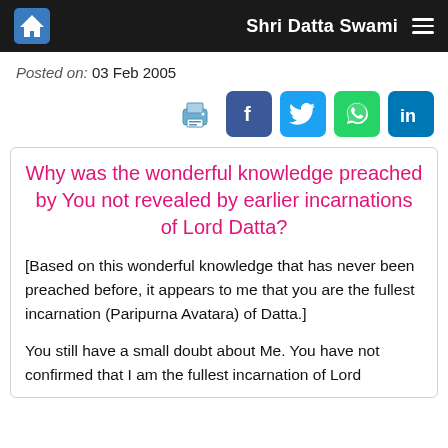Shri Datta Swami
Posted on: 03 Feb 2005
[Figure (other): Social share icons: print, Facebook, Twitter, WhatsApp, LinkedIn]
Why was the wonderful knowledge preached by You not revealed by earlier incarnations of Lord Datta?
[Based on this wonderful knowledge that has never been preached before, it appears to me that you are the fullest incarnation (Paripurna Avatara) of Datta.]
You still have a small doubt about Me. You have not confirmed that I am the fullest incarnation of Lord